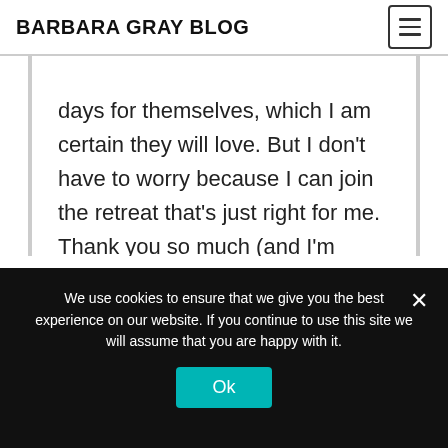BARBARA GRAY BLOG
days for themselves, which I am certain they will love. But I don't have to worry because I can join the retreat that's just right for me. Thank you so much (and I'm saving up for all the new stamps and stencils that you just might have for us to buy maybe?).
We use cookies to ensure that we give you the best experience on our website. If you continue to use this site we will assume that you are happy with it.
Ok